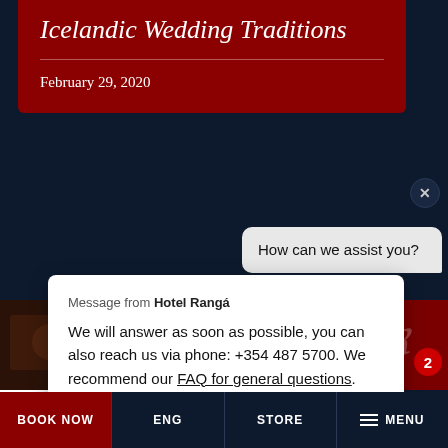Icelandic Wedding Traditions
February 29, 2020
How can we assist you?
Message from Hotel Rangá
We will answer as soon as possible, you can also reach us via phone: +354 487 5700. We recommend our FAQ for general questions. Our front desk is open between 8am-8pm.
This website use... get the best ex...
Cookie Settings
Proceed
Hotel Rangá
BOOK NOW   ENG   STORE   MENU